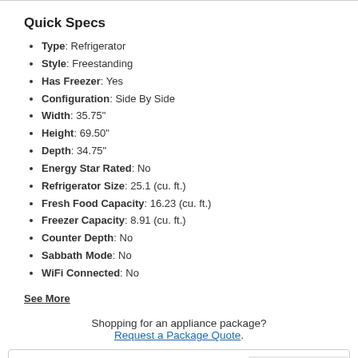Quick Specs
Type: Refrigerator
Style: Freestanding
Has Freezer: Yes
Configuration: Side By Side
Width: 35.75"
Height: 69.50"
Depth: 34.75"
Energy Star Rated: No
Refrigerator Size: 25.1 (cu. ft.)
Fresh Food Capacity: 16.23 (cu. ft.)
Freezer Capacity: 8.91 (cu. ft.)
Counter Depth: No
Sabbath Mode: No
WiFi Connected: No
See More
Shopping for an appliance package? Request a Package Quote.
Our Price $1,899.97
Our Price